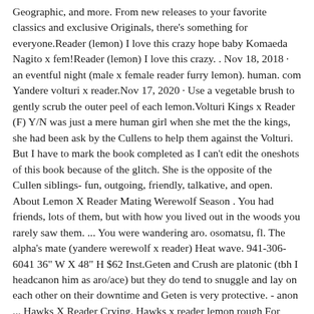Geographic, and more. From new releases to your favorite classics and exclusive Originals, there's something for everyone.Reader (lemon) I love this crazy hope baby Komaeda Nagito x fem!Reader (lemon) I love this crazy. . Nov 18, 2018 · an eventful night (male x female reader furry lemon). human. com Yandere volturi x reader.Nov 17, 2020 · Use a vegetable brush to gently scrub the outer peel of each lemon.Volturi Kings x Reader (F) Y/N was just a mere human girl when she met the the kings, she had been ask by the Cullens to help them against the Volturi. But I have to mark the book completed as I can't edit the oneshots of this book because of the glitch. She is the opposite of the Cullen siblings- fun, outgoing, friendly, talkative, and open. About Lemon X Reader Mating Werewolf Season . You had friends, lots of them, but with how you lived out in the woods you rarely saw them. ... You were wandering aro. osomatsu, fl. The alpha's mate (yandere werewolf x reader) Heat wave. 941-306-6041 36" W X 48" H $62 Inst.Geten and Crush are platonic (tbh I headcanon him as aro/ace) but they do tend to snuggle and lay on each other on their downtime and Geten is very protective. - anon ... Hawks X Reader Crying. Hawks x reader lemon rough For further explanation, see our Rules Page and Wiki (hawks x gn!reader, fluff) notice: i currently do not write any nsfw ...1.2K Stories. Sort by: Hot. # 1. The Swan Has Horns by 🌙Mommy Moonlight. 7.9K 267 14. It's been a while since the eldest child of Renee Dwyer, and Charlie Swan has returned to Forks. Romance Vampires Twilight Carlisle Cullen X Reader